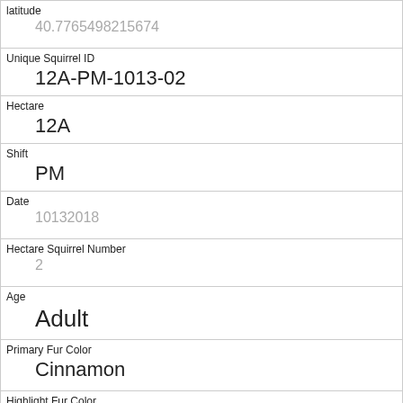| Field | Value |
| --- | --- |
| latitude | 40.7765498215674 |
| Unique Squirrel ID | 12A-PM-1013-02 |
| Hectare | 12A |
| Shift | PM |
| Date | 10132018 |
| Hectare Squirrel Number | 2 |
| Age | Adult |
| Primary Fur Color | Cinnamon |
| Highlight Fur Color | Gray |
| Combination of Primary and Highlight Color | Cinnamon+Gray |
| Color notes |  |